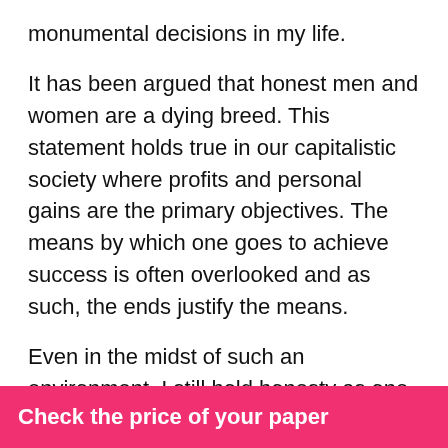monumental decisions in my life.
It has been argued that honest men and women are a dying breed. This statement holds true in our capitalistic society where profits and personal gains are the primary objectives. The means by which one goes to achieve success is often overlooked and as such, the ends justify the means.
Even in the midst of such an environment, I still hold honesty as one of my core values. Without a doubt, this is mostly as a result of my upbringing whereby honest was applauded and dishonesty shunned. Also, I have come to realize that when one achieves success though honesty, the level of satisfaction that comes with it is truly unrivaled by any other feeling.
…a huge regard for …itual values is
Check the price of your paper